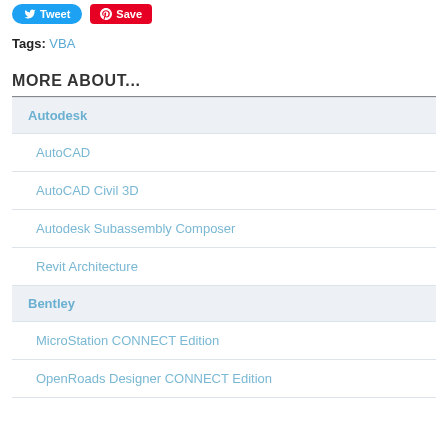[Figure (other): Tweet and Save social media buttons]
Tags: VBA
MORE ABOUT...
Autodesk
AutoCAD
AutoCAD Civil 3D
Autodesk Subassembly Composer
Revit Architecture
Bentley
MicroStation CONNECT Edition
OpenRoads Designer CONNECT Edition